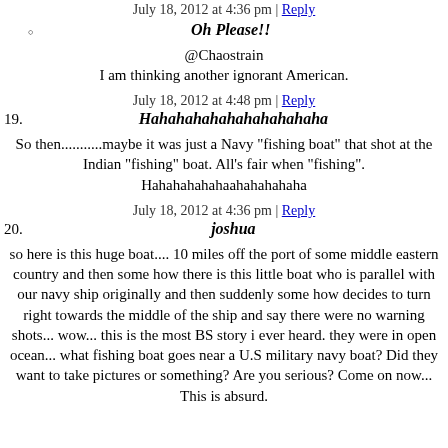July 18, 2012 at 4:36 pm | Reply
Oh Please!!
@Chaostrain
I am thinking another ignorant American.
July 18, 2012 at 4:48 pm | Reply
19. Hahahahahahahahahahaha
So then...........maybe it was just a Navy "fishing boat" that shot at the Indian "fishing" boat. All's fair when "fishing". Hahahahahahahahahahaha
July 18, 2012 at 4:36 pm | Reply
20. joshua
so here is this huge boat.... 10 miles off the port of some middle eastern country and then some how there is this little boat who is parallel with our navy ship originally and then suddenly some how decides to turn right towards the middle of the ship and say there were no warning shots... wow... this is the most BS story i ever heard. they were in open ocean... what fishing boat goes near a U.S military navy boat? Did they want to take pictures or something? Are you serious? Come on now... This is absurd.